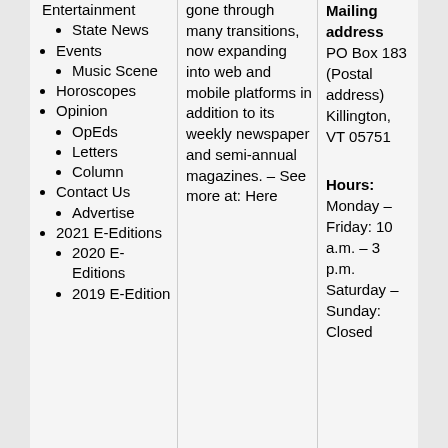Entertainment
State News
Events
Music Scene
Horoscopes
Opinion
OpEds
Letters
Column
Contact Us
Advertise
2021 E-Editions
2020 E-Editions
2019 E-Edition
gone through many transitions, now expanding into web and mobile platforms in addition to its weekly newspaper and semi-annual magazines. – See more at: Here
Mailing address PO Box 183 (Postal address) Killington, VT 05751

Hours: Monday – Friday: 10 a.m. – 3 p.m. Saturday – Sunday: Closed